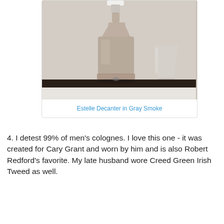[Figure (photo): A smoky gray glass decanter with a white stopper sitting on a dark wooden surface, with a clear drinking glass visible to its right. The background is a light gray/white.]
Estelle Decanter in Gray Smoke
4. I detest 99% of men's colognes. I love this one - it was created for Cary Grant and worn by him and is also Robert Redford's favorite. My late husband wore Creed Green Irish Tweed as well.